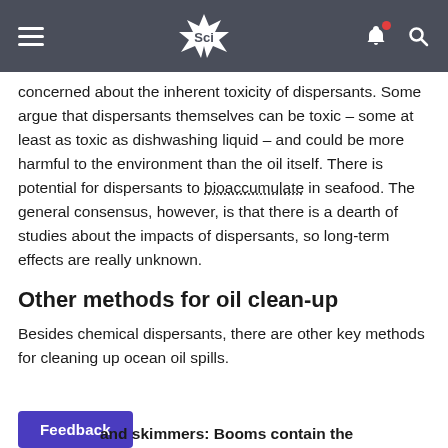Sci
concerned about the inherent toxicity of dispersants. Some argue that dispersants themselves can be toxic – some at least as toxic as dishwashing liquid – and could be more harmful to the environment than the oil itself. There is potential for dispersants to bioaccumulate in seafood. The general consensus, however, is that there is a dearth of studies about the impacts of dispersants, so long-term effects are really unknown.
Other methods for oil clean-up
Besides chemical dispersants, there are other key methods for cleaning up ocean oil spills.
and skimmers: Booms contain the